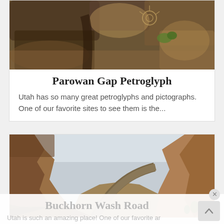[Figure (photo): Close-up photo of rock petroglyphs with dark rocks and tan/brown stone surface, with some green vegetation visible]
Parowan Gap Petroglyph
Utah has so many great petroglyphs and pictographs. One of our favorite sites to see them is the...
[Figure (photo): Canyon road photo showing a winding dirt/paved road between tall red rock canyon walls under overcast sky]
Buckhorn Wash Road
Utah is such an amazing place! One of our favorite ar